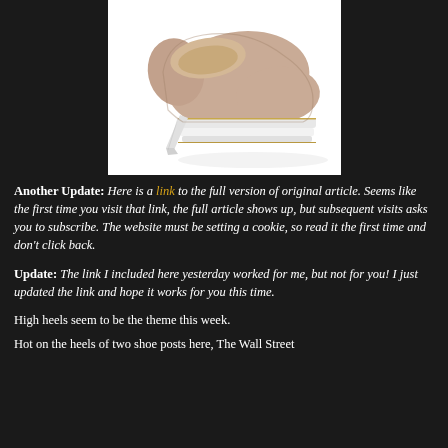[Figure (photo): A beige/nude platform high heel pump shoe with a white platform sole and thin stiletto heel, photographed against a white background.]
Another Update: Here is a link to the full version of original article. Seems like the first time you visit that link, the full article shows up, but subsequent visits asks you to subscribe. The website must be setting a cookie, so read it the first time and don't click back.
Update: The link I included here yesterday worked for me, but not for you! I just updated the link and hope it works for you this time.
High heels seem to be the theme this week.
Hot on the heels of two shoe posts here, The Wall Street